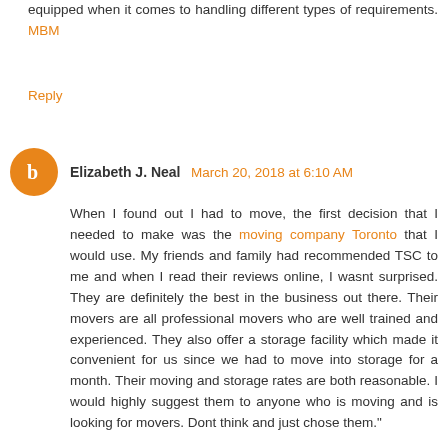equipped when it comes to handling different types of requirements. MBM
Reply
Elizabeth J. Neal  March 20, 2018 at 6:10 AM
When I found out I had to move, the first decision that I needed to make was the moving company Toronto that I would use. My friends and family had recommended TSC to me and when I read their reviews online, I wasnt surprised. They are definitely the best in the business out there. Their movers are all professional movers who are well trained and experienced. They also offer a storage facility which made it convenient for us since we had to move into storage for a month. Their moving and storage rates are both reasonable. I would highly suggest them to anyone who is moving and is looking for movers. Dont think and just chose them."
Reply